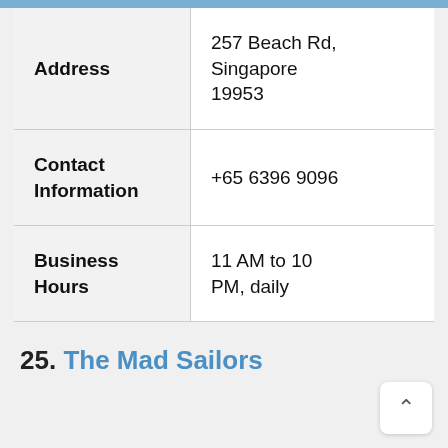| Address | 257 Beach Rd, Singapore 19953 |
| Contact Information | +65 6396 9096 |
| Business Hours | 11 AM to 10 PM, daily |
25. The Mad Sailors